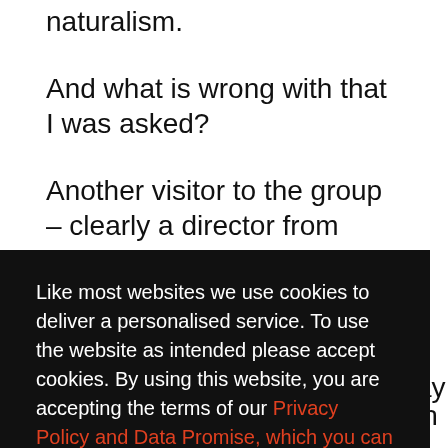naturalism.
And what is wrong with that I was asked?
Another visitor to the group – clearly a director from theatre – derided me for my absurd vision of opera as subject to some kind of 'kitchen sink' revolution. I am not talking about realism, I am
Like most websites we use cookies to deliver a personalised service. To use the website as intended please accept cookies. By using this website, you are accepting the terms of our Privacy Policy and Data Promise, which you can find here.
Accept Cookies
safety net. That actually we may be talking about